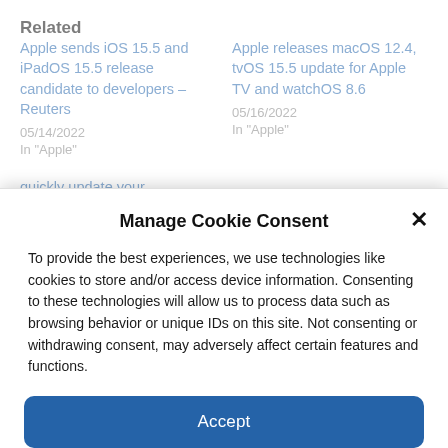Related
Apple sends iOS 15.5 and iPadOS 15.5 release candidate to developers – Reuters
05/14/2022
In "Apple"
Apple releases macOS 12.4, tvOS 15.5 update for Apple TV and watchOS 8.6
05/16/2022
In "Apple"
quickly update your devices
Manage Cookie Consent
To provide the best experiences, we use technologies like cookies to store and/or access device information. Consenting to these technologies will allow us to process data such as browsing behavior or unique IDs on this site. Not consenting or withdrawing consent, may adversely affect certain features and functions.
Accept
Cookie Policy